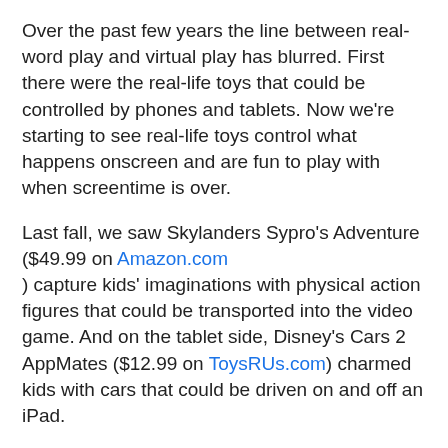Over the past few years the line between real-word play and virtual play has blurred. First there were the real-life toys that could be controlled by phones and tablets. Now we're starting to see real-life toys control what happens onscreen and are fun to play with when screentime is over.
Last fall, we saw Skylanders Sypro's Adventure ($49.99 on Amazon.com) capture kids' imaginations with physical action figures that could be transported into the video game. And on the tablet side, Disney's Cars 2 AppMates ($12.99 on ToysRUs.com) charmed kids with cars that could be driven on and off an iPad.
As toymakers sense a rising tension between real-world and virtual toys, they are scrambling to compete with their digital competitors. Done properly, this new era of toys might just have the wow-power to impress a whole new generation of tech-savvy kids. Here are three that show